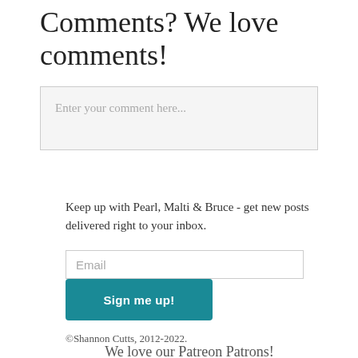Comments? We love comments!
[Figure (screenshot): Comment input text box with placeholder text 'Enter your comment here...']
Keep up with Pearl, Malti & Bruce - get new posts delivered right to your inbox.
[Figure (screenshot): Email input field with placeholder 'Email' and a teal 'Sign me up!' button below it]
©Shannon Cutts, 2012-2022.
We love our Patreon Patrons!